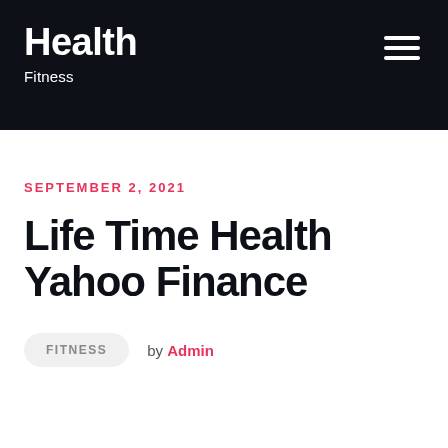Health
Fitness
SEPTEMBER 2, 2021
Life Time Health Yahoo Finance
FITNESS  by Admin